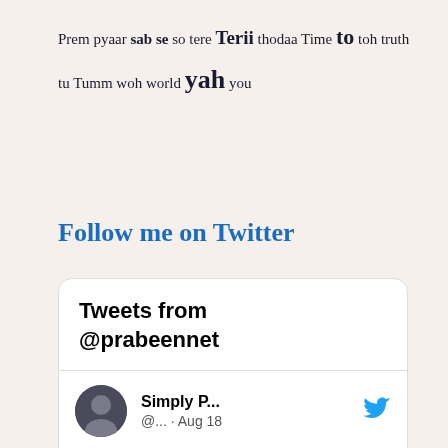Prem pyaar sab se so tere Terii thodaa Time to toh truth tu Tumm woh world yah you
Follow me on Twitter
[Figure (screenshot): Twitter widget showing 'Tweets from @prabeennet' with a tweet by Simply P... (@... · Aug 18) reading: 'How @Flipkart cheats and scams people. complaints not addressed. Junk opaque customer support. No option to even attach screenshots against order or in chat because no email support. Looting money']